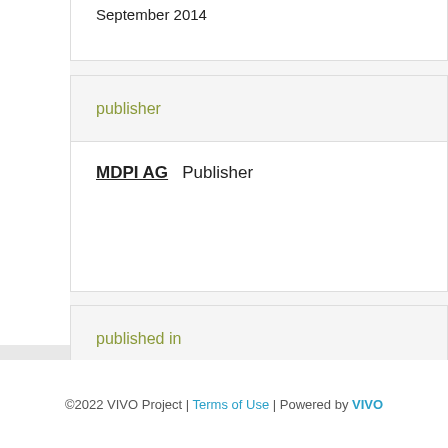September 2014
publisher
MDPI AG  Publisher
published in
Remote Sensing  Journal
©2022 VIVO Project | Terms of Use | Powered by VIVO